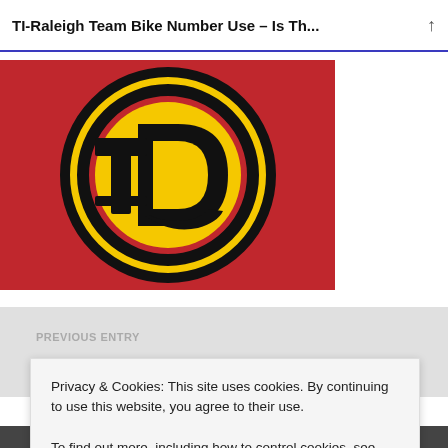TI-Raleigh Team Bike Number Use – Is Th...
[Figure (logo): TI-Raleigh team logo: yellow circular emblem with stylized T and D letters on a red background, outlined in black]
PREVIOUS ENTRY
Privacy & Cookies: This site uses cookies. By continuing to use this website, you agree to their use.
To find out more, including how to control cookies, see here: Cookie Policy
Close and accept